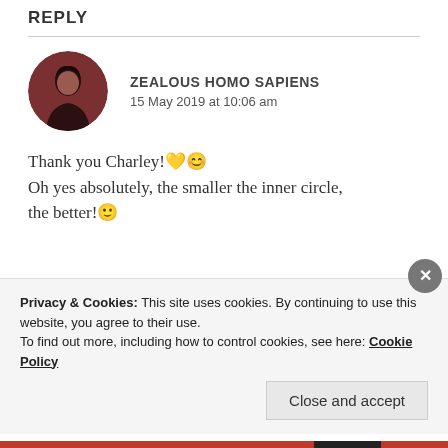REPLY
ZEALOUS HOMO SAPIENS
15 May 2019 at 10:06 am
Thank you Charley!🧡😊
Oh yes absolutely, the smaller the inner circle, the better!🙂
Privacy & Cookies: This site uses cookies. By continuing to use this website, you agree to their use.
To find out more, including how to control cookies, see here: Cookie Policy
Close and accept